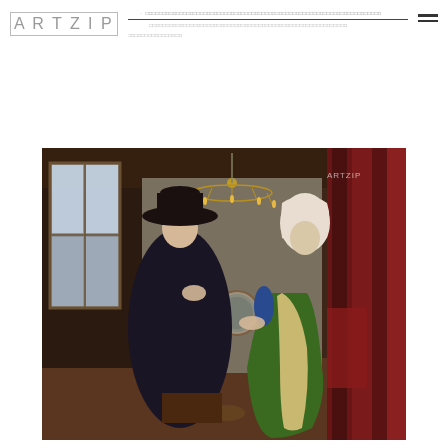ARTZIP — navigation header with logo and menu lines
[Figure (photo): Jan van Eyck's Arnolfini Portrait — a man in a large black hat and dark fur-trimmed robe holds hands with a woman in a green dress and white veil headdress, standing in a richly furnished Flemish interior with a brass chandelier, convex mirror, and red drapery. ARTZIP watermark visible in upper right of image.]